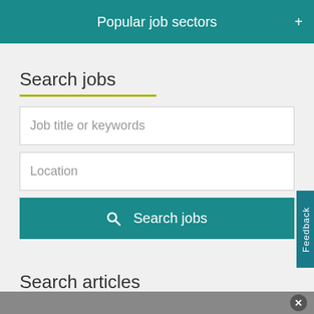Popular job sectors
Search jobs
Job title or keywords
Location
Search jobs
Search articles
Keywords or phrase
Search
Feedback